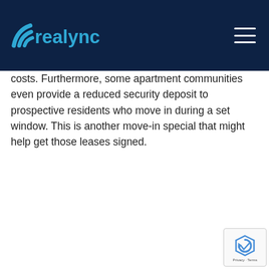realync
costs. Furthermore, some apartment communities even provide a reduced security deposit to prospective residents who move in during a set window. This is another move-in special that might help get those leases signed.